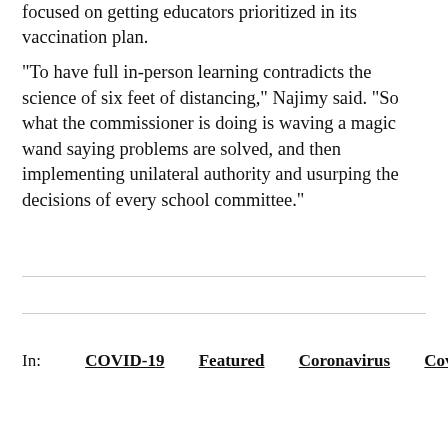focused on getting educators prioritized in its vaccination plan.
"To have full in-person learning contradicts the science of six feet of distancing," Najimy said. "So what the commissioner is doing is waving a magic wand saying problems are solved, and then implementing unilateral authority and usurping the decisions of every school committee."
In:  COVID-19  Featured  Coronavirus  Covid-19 Boston, MA